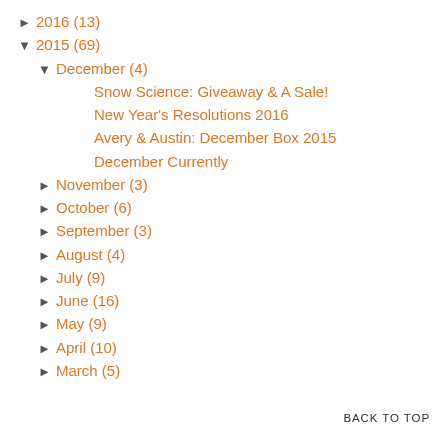► 2016 (13)
▼ 2015 (69)
▼ December (4)
Snow Science: Giveaway & A Sale!
New Year's Resolutions 2016
Avery & Austin: December Box 2015
December Currently
► November (3)
► October (6)
► September (3)
► August (4)
► July (9)
► June (16)
► May (9)
► April (10)
► March (5)
BACK TO TOP